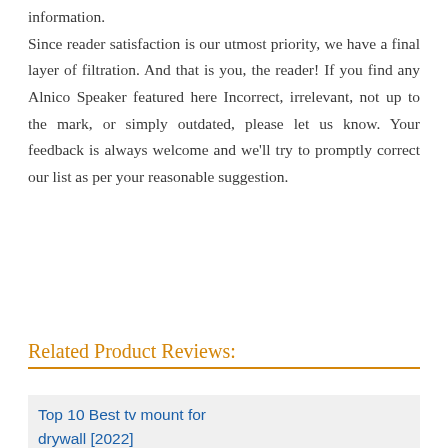information. Since reader satisfaction is our utmost priority, we have a final layer of filtration. And that is you, the reader! If you find any Alnico Speaker featured here Incorrect, irrelevant, not up to the mark, or simply outdated, please let us know. Your feedback is always welcome and we'll try to promptly correct our list as per your reasonable suggestion.
Related Product Reviews:
Top 10 Best tv mount for drywall [2022]